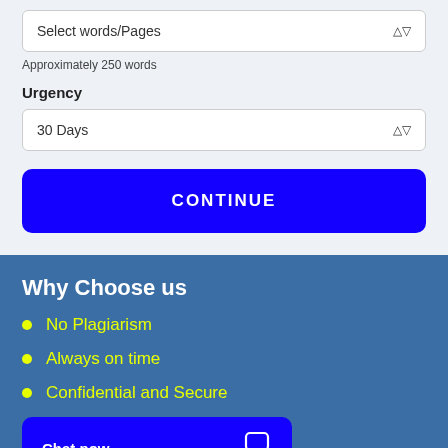Select words/Pages
Approximately 250 words
Urgency
30 Days
CONTINUE
Why Choose us
No Plagiarism
Always on time
Confidential and Secure
Chat now